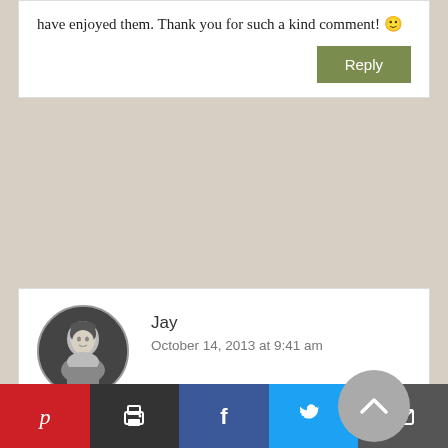have enjoyed them. Thank you for such a kind comment! 🙂
Reply
Jay
October 14, 2013 at 9:41 am
I hope this is more historically accurate and neutral than the public and home “education” I received regarding Cristobal Colon.
[Figure (other): Social sharing bar with Pinterest, Print, Facebook, Twitter, and Email buttons]